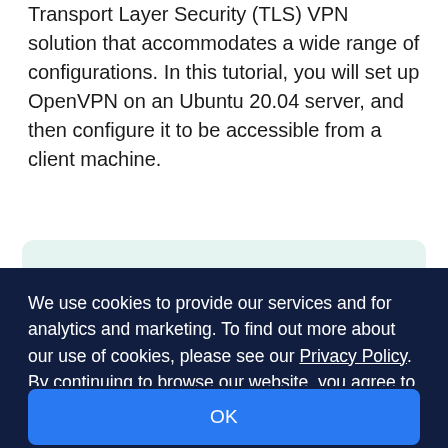Transport Layer Security (TLS) VPN solution that accommodates a wide range of configurations. In this tutorial, you will set up OpenVPN on an Ubuntu 20.04 server, and then configure it to be accessible from a client machine.
Note: If you plan to set up an OpenVPN Server on a DigitalOcean Droplet, be aware that we, like many hosting providers, charge for bandwidth overages. For this reason, please be mindful of how much traffic your server is...
We use cookies to provide our services and for analytics and marketing. To find out more about our use of cookies, please see our Privacy Policy. By continuing to browse our website, you agree to our use of cookies.
OK